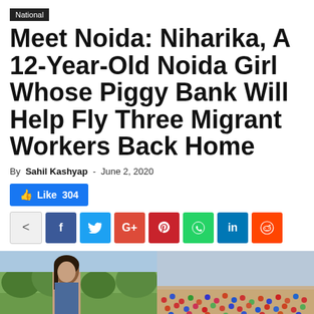National
Meet Noida: Niharika, A 12-Year-Old Noida Girl Whose Piggy Bank Will Help Fly Three Migrant Workers Back Home
By Sahil Kashyap - June 2, 2020
[Figure (infographic): Like 304 button and social sharing bar with Facebook, Twitter, Google+, Pinterest, WhatsApp, LinkedIn, Reddit icons]
[Figure (photo): Two side-by-side photos: left shows a young girl (Niharika), right shows a crowd of migrant workers]